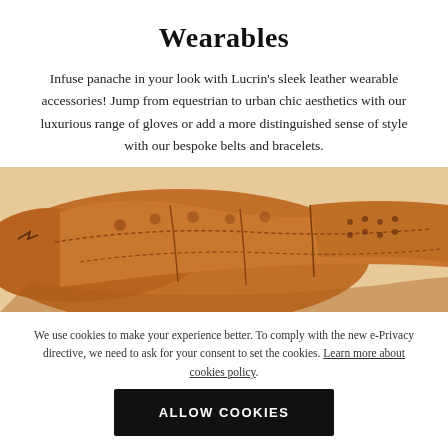Wearables
Infuse panache in your look with Lucrin’s sleek leather wearable accessories! Jump from equestrian to urban chic aesthetics with our luxurious range of gloves or add a more distinguished sense of style with our bespoke belts and bracelets.
[Figure (photo): Close-up photo of a tan/brown perforated leather driving glove on a light beige background.]
We use cookies to make your experience better. To comply with the new e-Privacy directive, we need to ask for your consent to set the cookies. Learn more about cookies policy.
ALLOW COOKIES